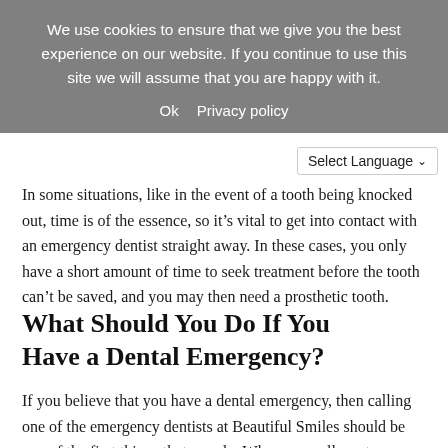We use cookies to ensure that we give you the best experience on our website. If you continue to use this site we will assume that you are happy with it.
Ok   Privacy policy
Select Language
In some situations, like in the event of a tooth being knocked out, time is of the essence, so it’s vital to get into contact with an emergency dentist straight away. In these cases, you only have a short amount of time to seek treatment before the tooth can’t be saved, and you may then need a prosthetic tooth.
What Should You Do If You Have a Dental Emergency?
If you believe that you have a dental emergency, then calling one of the emergency dentists at Beautiful Smiles should be one of the first things that you do. When you call our team, we’ll discuss the emergency with you, and arrange for you to see one of our professional emergency dentists as soon as possible.